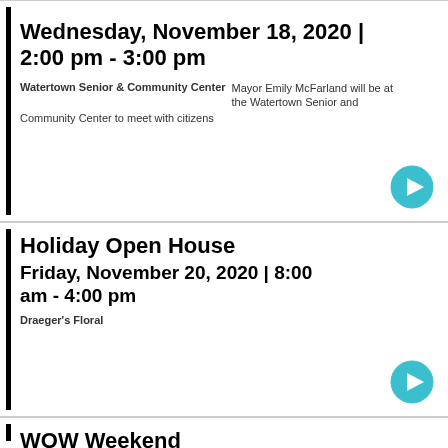Wednesday, November 18, 2020 | 2:00 pm - 3:00 pm
Watertown Senior & Community Center  Mayor Emily McFarland will be at the Watertown Senior and Community Center to meet with citizens
Holiday Open House
Friday, November 20, 2020 | 8:00 am - 4:00 pm
Draeger's Floral
WOW Weekend